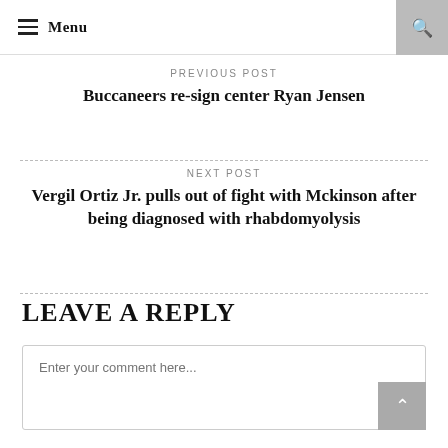Menu
PREVIOUS POST
Buccaneers re-sign center Ryan Jensen
NEXT POST
Vergil Ortiz Jr. pulls out of fight with Mckinson after being diagnosed with rhabdomyolysis
LEAVE A REPLY
Enter your comment here...